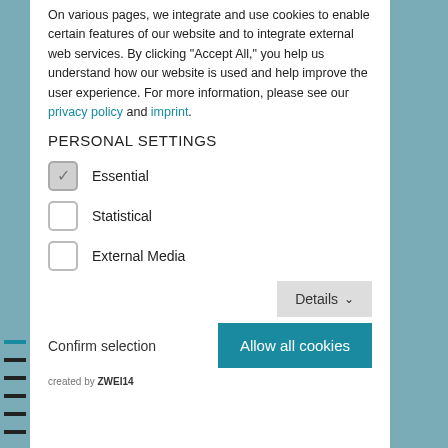On various pages, we integrate and use cookies to enable certain features of our website and to integrate external web services. By clicking "Accept All," you help us understand how our website is used and help improve the user experience. For more information, please see our privacy policy and imprint.
PERSONAL SETTINGS
Essential (checked)
Statistical
External Media
Details
Confirm selection   Allow all cookies
created by ZWEI14